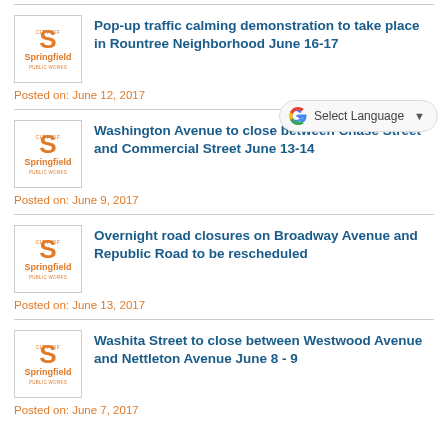Pop-up traffic calming demonstration to take place in Rountree Neighborhood June 16-17
Posted on: June 12, 2017
Washington Avenue to close between Chase Street and Commercial Street June 13-14
Posted on: June 9, 2017
Overnight road closures on Broadway Avenue and Republic Road to be rescheduled
Posted on: June 13, 2017
Washita Street to close between Westwood Avenue and Nettleton Avenue June 8 - 9
Posted on: June 7, 2017